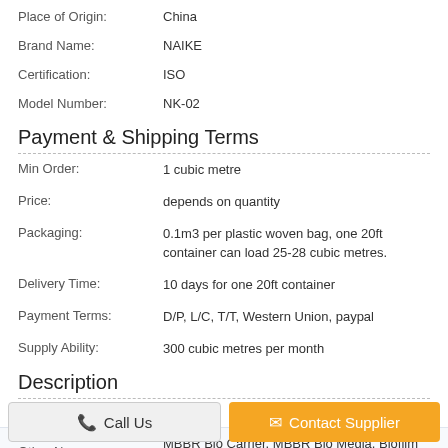Place of Origin: China
Brand Name: NAIKE
Certification: ISO
Model Number: NK-02
Payment & Shipping Terms
Min Order: 1 cubic metre
Price: depends on quantity
Packaging: 0.1m3 per plastic woven bag, one 20ft container can load 25-28 cubic metres.
Delivery Time: 10 days for one 20ft container
Payment Terms: D/P, L/C, T/T, Western Union, paypal
Supply Ability: 300 cubic metres per month
Description
MBBR media
Other Name: MBBR Bio Carrier, MBBR Bio Media, Biofilm Carrier